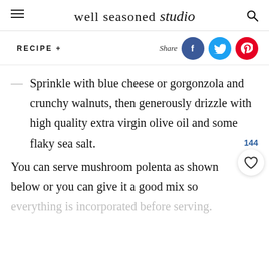well seasoned studio
RECIPE +
Sprinkle with blue cheese or gorgonzola and crunchy walnuts, then generously drizzle with high quality extra virgin olive oil and some flaky sea salt.
You can serve mushroom polenta as shown below or you can give it a good mix so
everything is incorporated before serving.